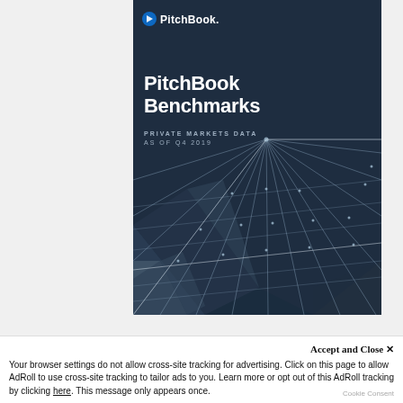[Figure (illustration): PitchBook report cover page with dark navy background (#1e2d40), geometric network/mesh lines radiating from a vanishing point in the lower-center area creating a perspective grid effect with triangular facets in lighter blue-gray tones. PitchBook logo at top left. Title 'PitchBook Benchmarks' in large white bold text. Subtitle 'PRIVATE MARKETS DATA' and 'AS OF Q4 2019' in small spaced uppercase text.]
Accept and Close ×
Your browser settings do not allow cross-site tracking for advertising. Click on this page to allow AdRoll to use cross-site tracking to tailor ads to you. Learn more or opt out of this AdRoll tracking by clicking here. This message only appears once.